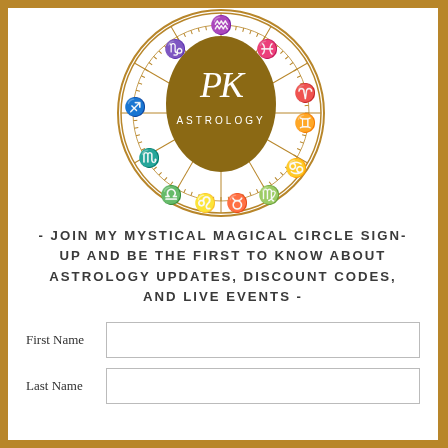[Figure (logo): PK Astrology logo — a circular zodiac wheel with gold astrological symbols around the ring and a central dark gold circle with stylized PK monogram and ASTROLOGY text underneath]
- JOIN MY MYSTICAL MAGICAL CIRCLE SIGN-UP AND BE THE FIRST TO KNOW ABOUT ASTROLOGY UPDATES, DISCOUNT CODES, AND LIVE EVENTS -
First Name [input field]
Last Name [input field]